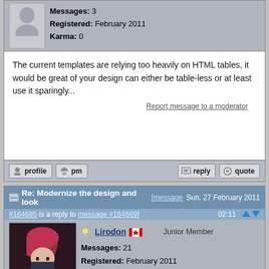Messages: 3
Registered: February 2011
Karma: 0
The current templates are relying too heavily on HTML tables, it would be great of your design can either be table-less or at least use it sparingly...
Report message to a moderator
Re: Modernize the design and look [message #164685 is a reply to message #164669]  Sun, 27 February 2011 02:11
Lirodon  Junior Member
Messages: 21
Registered: February 2011
Location: Canada
Karma: 0
As much as I detest the postbit right now, I am gonna maintain it ... for now. With that, I've mocked up what this could possibly look like